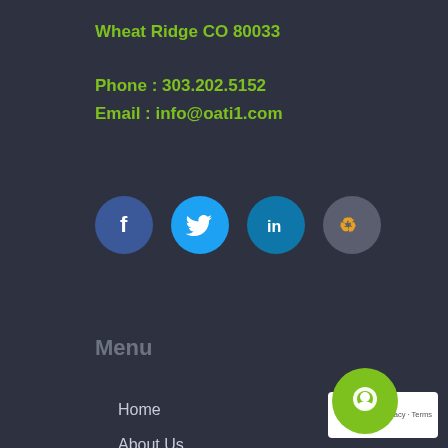Wheat Ridge CO 80033
Phone : 303.202.5152
Email : info@oati1.com
[Figure (illustration): Four social media icon circles: Facebook (dark blue), Twitter (light blue), LinkedIn (medium blue), and a recycling/custom icon (gray with orange arrows)]
Menu
Home
About Us
Contact Us
Blog
Sitemap
[Figure (illustration): Green circle chat bubble icon in the bottom right corner, overlapping a partial reCAPTCHA badge showing 'acy - Terms']